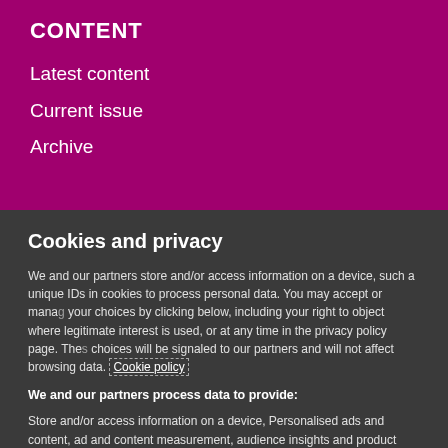CONTENT
Latest content
Current issue
Archive
Cookies and privacy
We and our partners store and/or access information on a device, such as unique IDs in cookies to process personal data. You may accept or manage your choices by clicking below, including your right to object where legitimate interest is used, or at any time in the privacy policy page. These choices will be signaled to our partners and will not affect browsing data. Cookie policy
We and our partners process data to provide:
Store and/or access information on a device, Personalised ads and content, ad and content measurement, audience insights and product development, Use precise geolocation data, Actively scan device characteristics for identification
List of Partners (vendors)